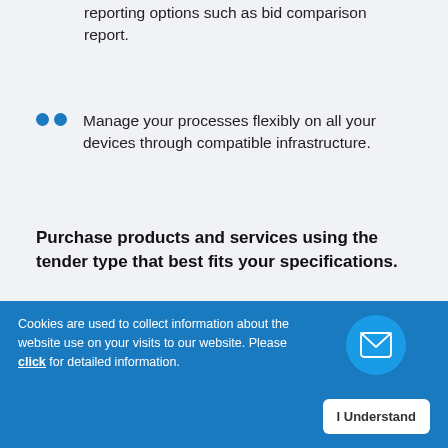reporting options such as bid comparison report.
Manage your processes flexibly on all your devices through compatible infrastructure.
Purchase products and services using the tender type that best fits your specifications.
e-Tender by Underbidding
[Figure (illustration): Gray circle icon, blue circle with arrow/activity icon, and blue circle with envelope icon overlapping at bottom right]
Cookies are used to collect information about the website use on your visits to our website. Please click for detailed information. | I Understand button